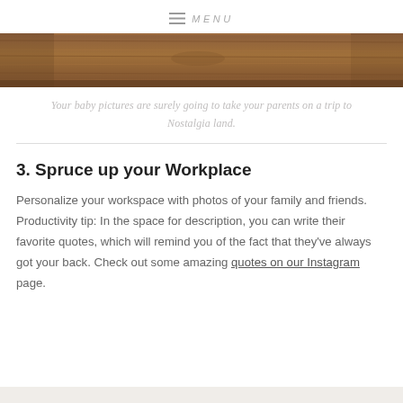≡ MENU
[Figure (photo): Partial view of a wooden surface/table with warm brown tones, appearing to be the bottom portion of a photo]
Your baby pictures are surely going to take your parents on a trip to Nostalgia land.
3. Spruce up your Workplace
Personalize your workspace with photos of your family and friends. Productivity tip: In the space for description, you can write their favorite quotes, which will remind you of the fact that they've always got your back. Check out some amazing quotes on our Instagram page.